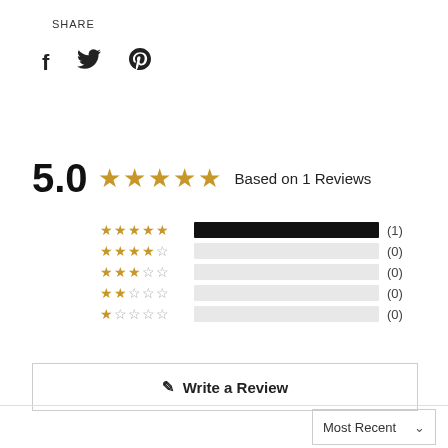SHARE
[Figure (infographic): Social share icons: Facebook (f), Twitter (bird), Pinterest (P)]
5.0 ★★★★★ Based on 1 Reviews
[Figure (bar-chart): Star rating histogram]
✎ Write a Review
Most Recent